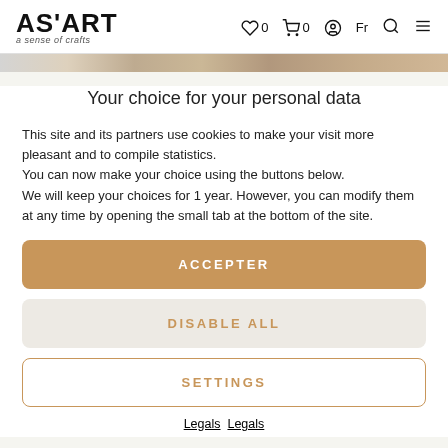AS'ART a sense of crafts — navigation bar with icons: heart 0, cart 0, account, Fr, search, menu
Your choice for your personal data
This site and its partners use cookies to make your visit more pleasant and to compile statistics.
You can now make your choice using the buttons below.
We will keep your choices for 1 year. However, you can modify them at any time by opening the small tab at the bottom of the site.
ACCEPTER
DISABLE ALL
SETTINGS
Legals  Legals